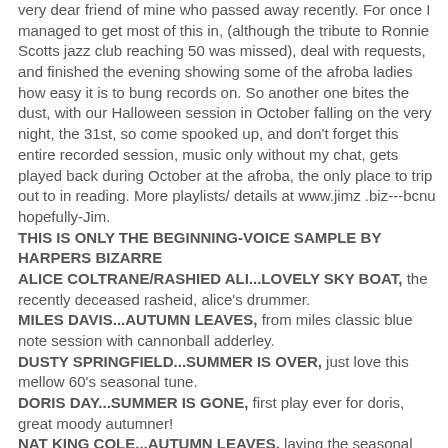very dear friend of mine who passed away recently. For once I managed to get most of this in, (although the tribute to Ronnie Scotts jazz club reaching 50 was missed), deal with requests, and finished the evening showing some of the afroba ladies how easy it is to bung records on. So another one bites the dust, with our Halloween session in October falling on the very night, the 31st, so come spooked up, and don't forget this entire recorded session, music only without my chat, gets played back during October at the afroba, the only place to trip out to in reading. More playlists/ details at www.jimz .biz---bcnu hopefully-Jim.
THIS IS ONLY THE BEGINNING-VOICE SAMPLE BY HARPERS BIZARRE
ALICE COLTRANE/RASHIED ALI...LOVELY SKY BOAT, the recently deceased rasheid, alice's drummer.
MILES DAVIS...AUTUMN LEAVES, from miles classic blue note session with cannonball adderley.
DUSTY SPRINGFIELD...SUMMER IS OVER, just love this mellow 60's seasonal tune.
DORIS DAY...SUMMER IS GONE, first play ever for doris, great moody autumner!
NAT KING COLE...AUTUMN LEAVES, laying the seasonal